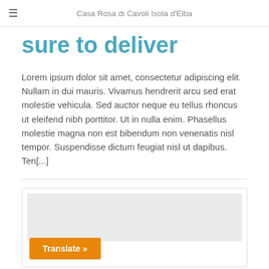Casa Rosa di Cavoli Isola d'Elba
sure to deliver
Lorem ipsum dolor sit amet, consectetur adipiscing elit. Nullam in dui mauris. Vivamus hendrerit arcu sed erat molestie vehicula. Sed auctor neque eu tellus rhoncus ut eleifend nibh porttitor. Ut in nulla enim. Phasellus molestie magna non est bibendum non venenatis nisl tempor. Suspendisse dictum feugiat nisl ut dapibus. Ten[...]
[Figure (other): Card widget area with a light gray placeholder image region and an orange 'Translate »' button at the bottom left]